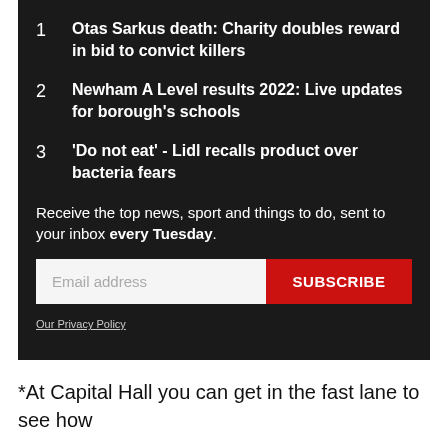1  Otas Sarkus death: Charity doubles reward in bid to convict killers
2  Newham A Level results 2022: Live updates for borough's schools
3  'Do not eat' - Lidl recalls product over bacteria fears
Receive the top news, sport and things to do, sent to your inbox every Tuesday.
Email address
SUBSCRIBE
Our Privacy Policy
*At Capital Hall you can get in the fast lane to see how